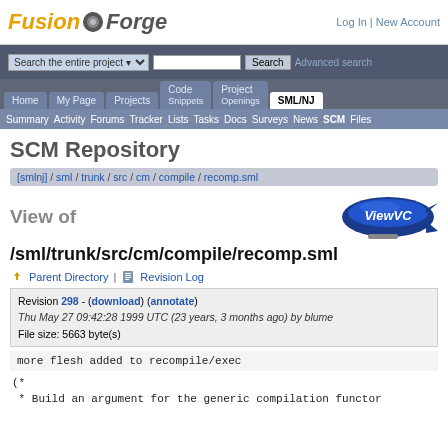[Figure (logo): FusionForge logo with gear icon and italic text]
Log In | New Account
Search the entire project [dropdown] [search box] Search   Advanced search
Home | My Page | Projects | Code Snippets | Project Openings | SML/NJ (active tab)
Summary Activity Forums Tracker Lists Tasks Docs Surveys News SCM Files
SCM Repository
[smlnj] / sml / trunk / src / cm / compile / recomp.sml
View of
[Figure (logo): ViewVC blimp logo]
/sml/trunk/src/cm/compile/recomp.sml
Parent Directory | Revision Log
Revision 298 - (download) (annotate)
Thu May 27 09:42:28 1999 UTC (23 years, 3 months ago) by blume
File size: 5663 byte(s)
more flesh added to recompile/exec
(*
 * Build an argument for the generic compilation functor